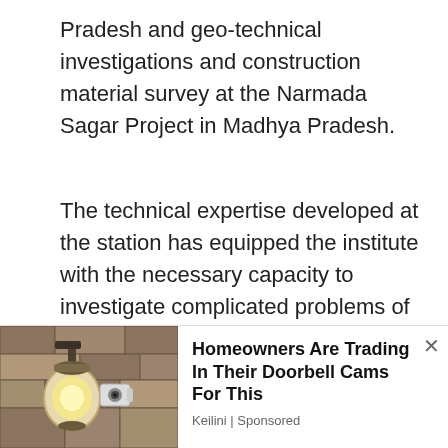Pradesh and geo-technical investigations and construction material survey at the Narmada Sagar Project in Madhya Pradesh.
The technical expertise developed at the station has equipped the institute with the necessary capacity to investigate complicated problems of rock-mechanics associated with tunnels, underground power stations, dam abutments and alley slopes in irrigation projects both in India and several other developing countries like Afghanistan, Algeria, Bangladesh, Bhutan, Iraq.
We use cookies on our website to give you the most relevant experience by remembering your preferences and repeat visits. By clicking “Accept”, you consent to the use of ALL the cookies. Do not sell my personal information.
[Figure (photo): Photo of a wall-mounted outdoor light fixture with a bulb, against a stone wall background]
Homeowners Are Trading In Their Doorbell Cams For This
Keilini | Sponsored